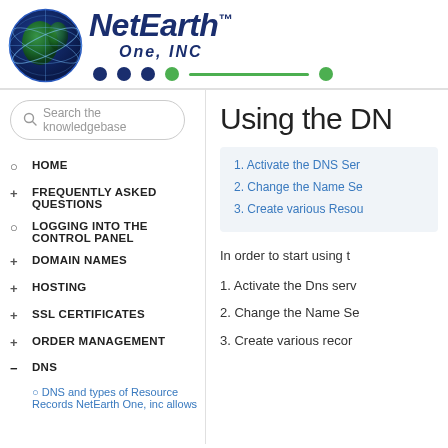[Figure (logo): NetEarth One INC logo with globe graphic, brand name in dark navy italic, dots navigation bar in navy and green]
Search the knowledgebase
HOME
FREQUENTLY ASKED QUESTIONS
LOGGING INTO THE CONTROL PANEL
DOMAIN NAMES
HOSTING
SSL CERTIFICATES
ORDER MANAGEMENT
DNS
DNS and types of Resource Records NetEarth One, inc allows
Using the DN
1. Activate the DNS Ser
2. Change the Name Se
3. Create various Resou
In order to start using t
1. Activate the Dns serv
2. Change the Name Se
3. Create various recor